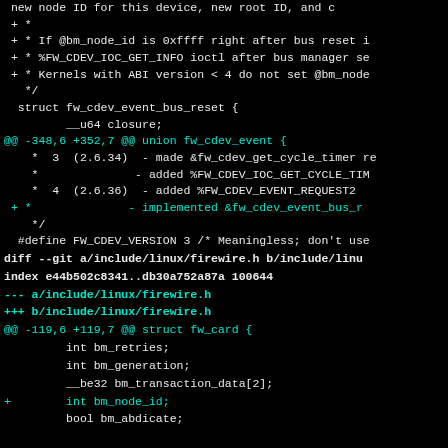Code diff showing changes to fw-cdev and firewire.h kernel headers
diff --git a/include/linux/firewire.h b/include/linux/firewire.h
index e44b502c8341..db30a752a87a 100644
--- a/include/linux/firewire.h
+++ b/include/linux/firewire.h
@@ -119,6 +119,7 @@ struct fw_card {
         int bm_retries;
         int bm_generation;
         __be32 bm_transaction_data[2];
+        int bm_node_id;
         bool bm_abdicate;

         bool priority_budget_implemented;  /* c